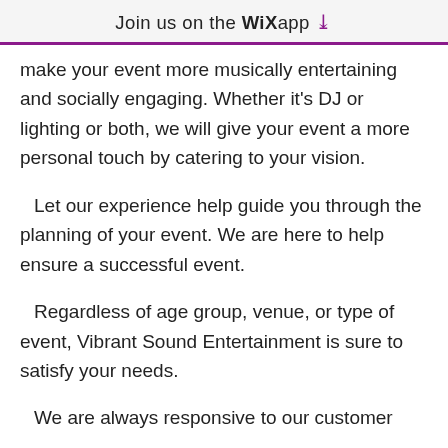Join us on the WiX app ↓
make your event more musically entertaining and socially engaging. Whether it's DJ or lighting or both, we will give your event a more personal touch by catering to your vision.
Let our experience help guide you through the planning of your event. We are here to help ensure a successful event.
Regardless of age group, venue, or type of event, Vibrant Sound Entertainment is sure to satisfy your needs.
We are always responsive to our customer